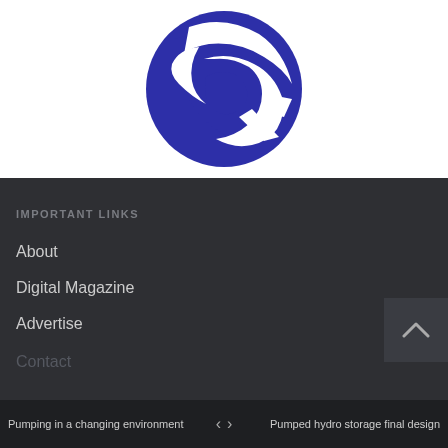[Figure (logo): Circular dark blue logo with white stylized letter or emblem featuring swooping arrow-like shapes]
IMPORTANT LINKS
About
Digital Magazine
Advertise
Contact
Pumping in a changing environment  <  >  Pumped hydro storage final design